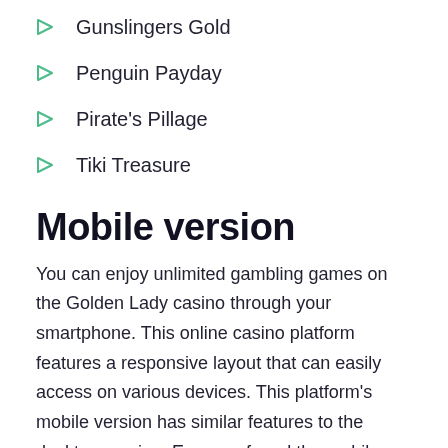Gunslingers Gold
Penguin Payday
Pirate's Pillage
Tiki Treasure
Mobile version
You can enjoy unlimited gambling games on the Golden Lady casino through your smartphone. This online casino platform features a responsive layout that can easily access on various devices. This platform's mobile version has similar features to the desktop version. Even we found the mobile version more efficient and attractive.
The mobile version of the Golden Lady casino is supported